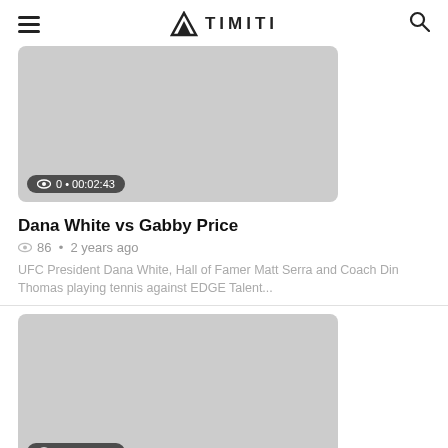TIMITI
[Figure (screenshot): Video thumbnail placeholder (gray rectangle) with view badge showing eye icon, 0 views, duration 00:02:43]
Dana White vs Gabby Price
86 • 2 years ago
UFC President Dana White, Hall of Famer Matt Serra and Coach Din Thomas playing tennis against EDGE Talent...
[Figure (screenshot): Video thumbnail placeholder (gray rectangle) with view badge showing eye icon, 0 views, duration 00:00:56]
Making Off Dana White vs Gabby Price
23 • 2 years ago
Footage inside taken during the filming of Dana Whit...